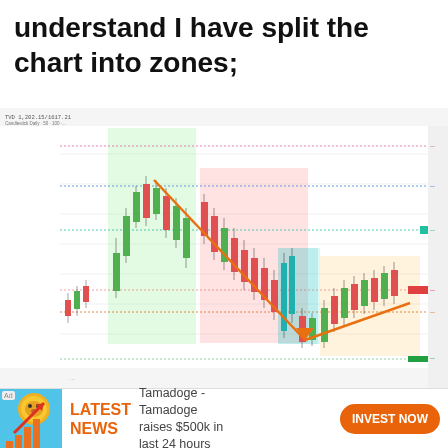understand I have split the chart into zones;
[Figure (screenshot): TradingView candlestick price chart with colored zones (green, red, orange) and orange trendlines showing a price decline then recovery. Multiple horizontal support/resistance levels marked on the right side.]
LATEST NEWS  Tamadoge - Tamadoge raises $500k in last 24 hours  INVEST NOW